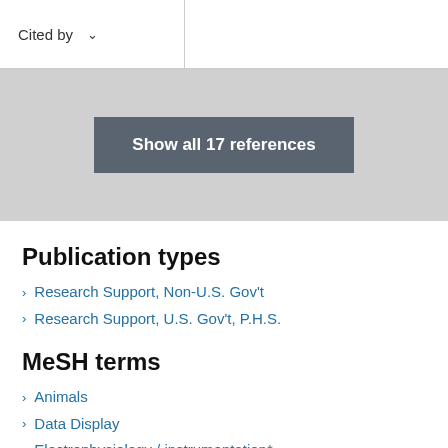Cited by
Show all 17 references
Publication types
Research Support, Non-U.S. Gov't
Research Support, U.S. Gov't, P.H.S.
MeSH terms
Animals
Data Display
Electrophysiology / instrumentation*
Ion Channels / physiology*